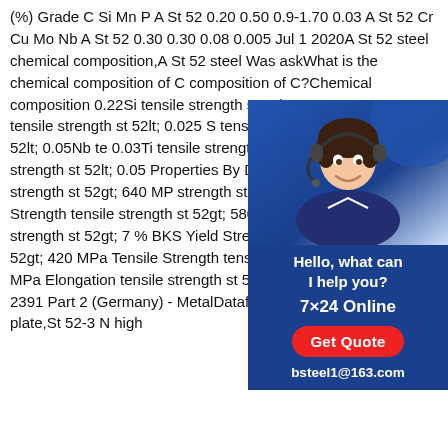(%) Grade C Si Mn P A St 52 0.20 0.50 0.9-1.70 0.03 A St 52 Cr Cu Mo Nb A St 52 0.30 0.30 0.08 0.005 Jul 1 2020A St 52 steel chemical composition,A St 52 steel Was askWhat is the chemical composition of C composition of C?Chemical composition 0.22Si tensile strength st 52lt; 0.55Mn tensile strength st 52lt; 1.6P tensile strength st 52lt; 0.025 S tensile strength 0.025V tensile strength st 52lt; 0.05Nb tensile strength 0.03Ti tensile strength st 52lt; 0.03 FeRe strength st 52lt; 0.05 Properties By DIN 2 Strength tensile strength st 52gt; 640 MP strength st 52gt; 4 % BKW Tensile Strength tensile strength st 52gt; 580 MPa Elongation tensile strength st 52gt; 7 % BKS Yield Strength tensile strength st 52gt; 420 MPa Tensile Strength tensile strength st 52gt; 580 MPa Elongation tensile strength st 52gt; 10 % GBKSt 52 DIN 2391 Part 2 (Germany) - MetalDatafoDIN 17100 St 52-3 N steel plate,St 52-3 N high
[Figure (illustration): Chat widget with customer service representative photo, 'Hello, what can I help you?' text, '7×24 Online', 'Get Quote' button, and 'bsteel1@163.com' email address on dark blue background.]